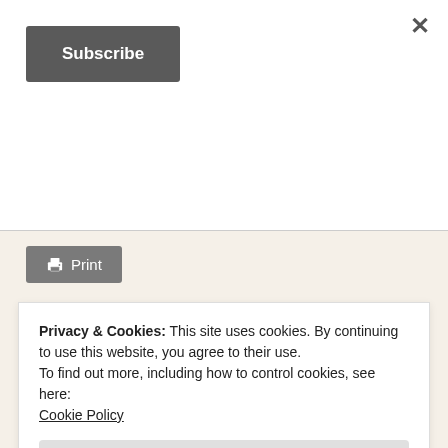×
Subscribe
Print
Loading...
Day 81: The Character
Privacy & Cookies: This site uses cookies. By continuing to use this website, you agree to their use.
To find out more, including how to control cookies, see here:
Cookie Policy
Close and accept